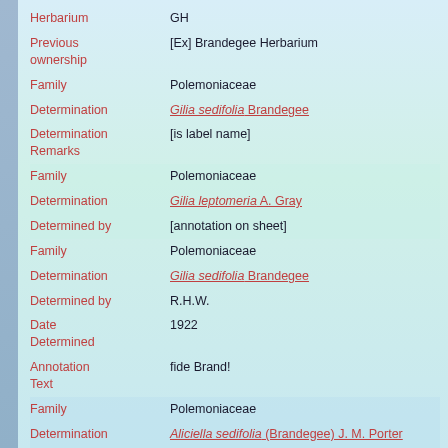| Field | Value |
| --- | --- |
| Herbarium | GH |
| Previous ownership | [Ex] Brandegee Herbarium |
| Family | Polemoniaceae |
| Determination | Gilia sedifolia Brandegee |
| Determination Remarks | [is label name] |
| Family | Polemoniaceae |
| Determination | Gilia leptomeria A. Gray |
| Determined by | [annotation on sheet] |
| Family | Polemoniaceae |
| Determination | Gilia sedifolia Brandegee |
| Determined by | R.H.W. |
| Date Determined | 1922 |
| Annotation Text | fide Brand! |
| Family | Polemoniaceae |
| Determination | Aliciella sedifolia (Brandegee) J. M. Porter |
| Determined by | Porter, James Mark |
| Date | 1999-07-20 |